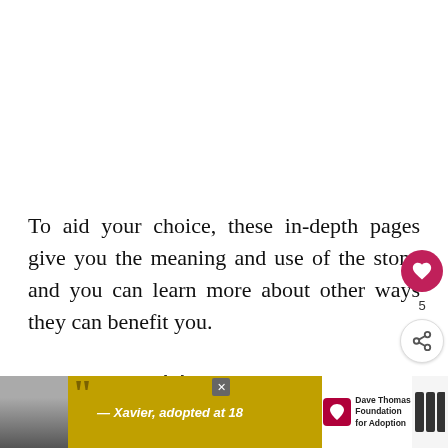To aid your choice, these in-depth pages give you the meaning and use of the stone and you can learn more about other ways they can benefit you.
Aegirine
[Figure (other): WHAT'S NEXT arrow label with circular thumbnail image and text 'A To Z of Crystals...']
Aegirine is a potent stone to use to help to put a stop to this
[Figure (other): Social interaction panel with heart/like button (5 likes) and share button]
[Figure (other): Advertisement banner featuring Xavier adopted at 18 with Dave Thomas Foundation for Adoption logo]